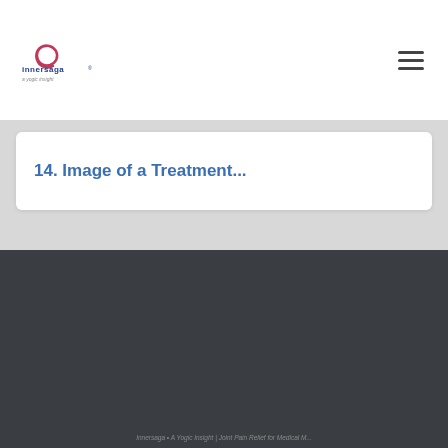[Figure (logo): Innersaga logo — a yogic insight, with red spiral and blue text]
14. Image of a Treatment...
ABOUT US
MEDICAL YOGA
INNER CHILD HEALING
REBIRTHING BREATHWORK
REIKI HEALING
FAQS
CONTACT US
Innersaga • A Yogic Insight | Joint Pain Relief for Medical M...